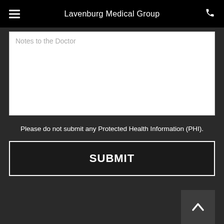Lavenburg Medical Group
Notes to the Doctor
Please do not submit any Protected Health Information (PHI).
SUBMIT
[Figure (illustration): Wheelchair accessibility icon - blue circle with white figure in wheelchair]